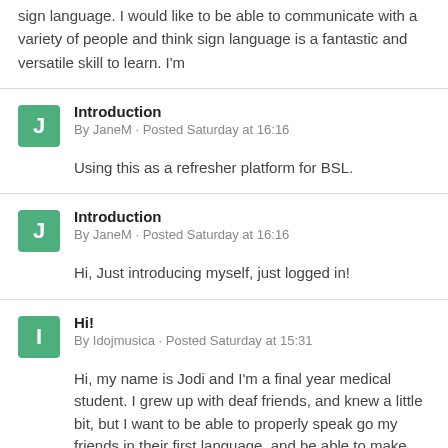sign language. I would like to be able to communicate with a variety of people and think sign language is a fantastic and versatile skill to learn. I'm
Introduction
By JaneM · Posted Saturday at 16:16

Using this as a refresher platform for BSL.
Introduction
By JaneM · Posted Saturday at 16:16

Hi, Just introducing myself, just logged in!
Hi!
By Idojmusica · Posted Saturday at 15:31

Hi, my name is Jodi and I'm a final year medical student. I grew up with deaf friends, and knew a little bit, but I want to be able to properly speak go my friends in their first language, and be able to make the hospital experience easier for bsl users